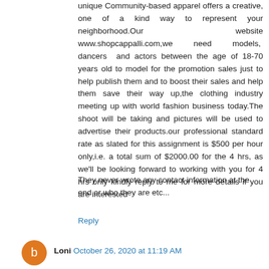unique Community-based apparel offers a creative, one of a kind way to represent your neighborhood.Our website www.shopcappalli.com,we need models, dancers and actors between the age of 18-70 years old to model for the promotion sales just to help publish them and to boost their sales and help them save their way up,the clothing industry meeting up with world fashion business today.The shoot will be taking and pictures will be used to advertise their products.our professional standard rate as slated for this assignment is $500 per hour only,i.e. a total sum of $2000.00 for the 4 hrs, as we'll be looking forward to working with you for 4 hrs only kindly reply to me for more details if you are interested
They never wrote any contact information at the end or who they are etc...
Reply
Loni  October 26, 2020 at 11:19 AM